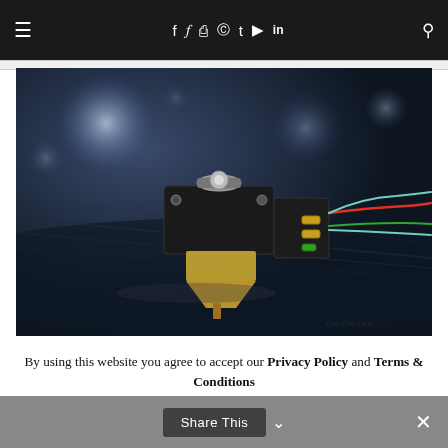≡  f  𝕥  ⊕  p  t  ▶  in  🔍
[Figure (photo): Close-up macro photo of a turntable phono cartridge and stylus on a vinyl record, showing the cartridge body with colorful wires (red, green, white) and gold-colored connectors, against a dark blurred background with bokeh light circles.]
By using this website you agree to accept our Privacy Policy and Terms & Conditions
Share This  ∨  ×